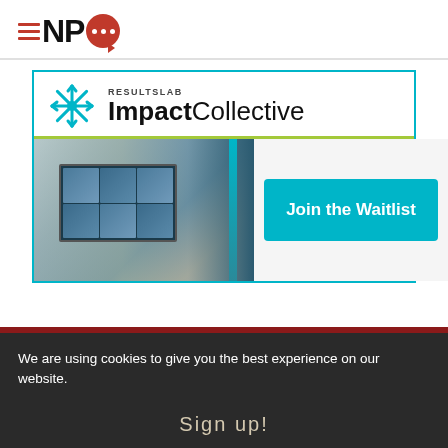[Figure (logo): NPQ logo with hamburger menu icon (three red lines), bold letters NP, and a red speech bubble with three white dots]
[Figure (infographic): ResultsLab ImpactCollective advertisement banner with snowflake logo, photo of person working on laptop with video call grid, teal divider, and 'Join the Waitlist' teal button]
We are using cookies to give you the best experience on our website.
Sign up!